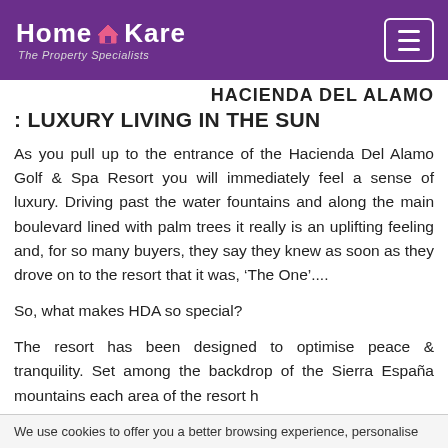Home Kare – The Property Specialists
HACIENDA DEL ALAMO : LUXURY LIVING IN THE SUN
As you pull up to the entrance of the Hacienda Del Alamo Golf & Spa Resort you will immediately feel a sense of luxury. Driving past the water fountains and along the main boulevard lined with palm trees it really is an uplifting feeling and, for so many buyers, they say they knew as soon as they drove on to the resort that it was, 'The One'....
So, what makes HDA so special?
The resort has been designed to optimise peace & tranquility. Set among the backdrop of the Sierra Española mountains each area of the resort h...
We use cookies to offer you a better browsing experience, personalise